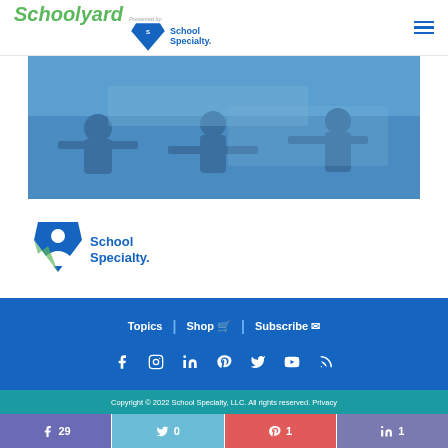Schoolyard Presented by: School Specialty.
[Figure (photo): Blue-tinted classroom photo showing students sitting at desks]
[Figure (logo): School Specialty logo with shield/person icon and text]
Topics | Shop | Subscribe
Social media icons: Facebook, Instagram, LinkedIn, Pinterest, Twitter, YouTube, RSS
Copyright © 2022 School Specialty, LLC. All rights reserved. Privacy...
f 29 | Twitter 0 | Pinterest 1 | in 1